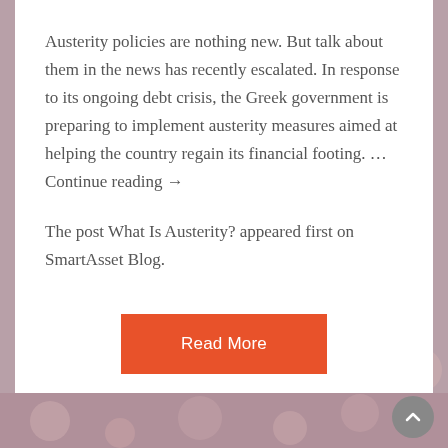Austerity policies are nothing new. But talk about them in the news has recently escalated. In response to its ongoing debt crisis, the Greek government is preparing to implement austerity measures aimed at helping the country regain its financial footing. … Continue reading →
The post What Is Austerity? appeared first on SmartAsset Blog.
[Figure (other): Orange 'Read More' button]